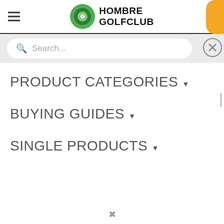Hombre Golfclub
Search...
PRODUCT CATEGORIES
BUYING GUIDES
SINGLE PRODUCTS